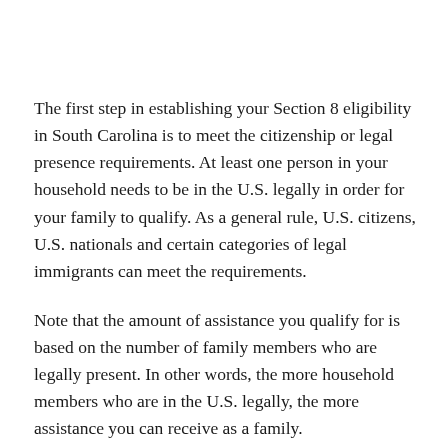The first step in establishing your Section 8 eligibility in South Carolina is to meet the citizenship or legal presence requirements. At least one person in your household needs to be in the U.S. legally in order for your family to qualify. As a general rule, U.S. citizens, U.S. nationals and certain categories of legal immigrants can meet the requirements.
Note that the amount of assistance you qualify for is based on the number of family members who are legally present. In other words, the more household members who are in the U.S. legally, the more assistance you can receive as a family.
Next, your Section 8 housing eligibility is based on whether you meet HUD's definition of “family.” Under this program,